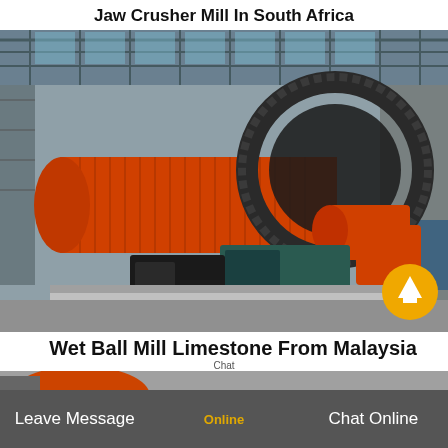Jaw Crusher Mill In South Africa
[Figure (photo): Industrial ball mill with large orange cylindrical drum, large gear ring, and electric motor drive unit, installed in a factory/industrial setting with scaffolding in background]
Wet Ball Mill Limestone From Malaysia
[Figure (photo): Partial view of orange industrial equipment, partially visible at bottom of page]
Leave Message   Online   Chat Online